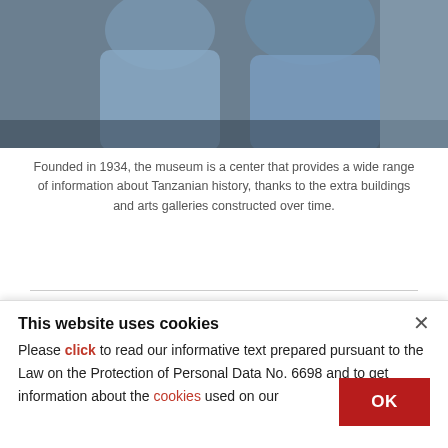[Figure (photo): Photograph showing people in blue garments, partially visible, cropped at top of page]
Founded in 1934, the museum is a center that provides a wide range of information about Tanzanian history, thanks to the extra buildings and arts galleries constructed over time.
BY ANADOLU AGENCY
MAY 17, 2017 12:00 AM
The National Museum of Tanzania displays the history of Tanzania, which dates back millions of years, and the more modern stages of bloody
This website uses cookies
Please click to read our informative text prepared pursuant to the Law on the Protection of Personal Data No. 6698 and to get information about the cookies used on our